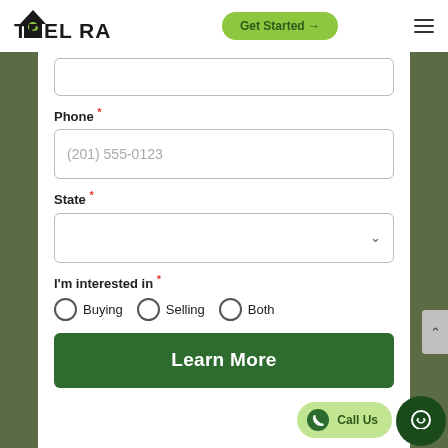TRELORA | Get Started →
Phone *
(201) 555-0123
State *
I'm interested in *
Buying
Selling
Both
Learn More
Call Us